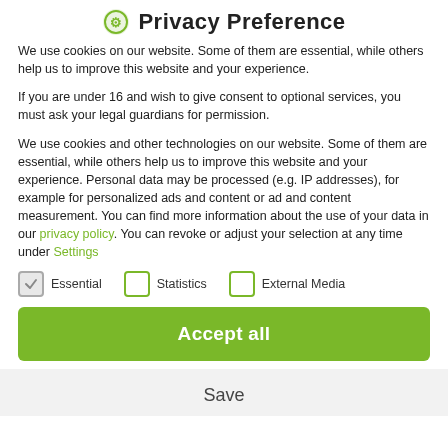Privacy Preference
We use cookies on our website. Some of them are essential, while others help us to improve this website and your experience.
If you are under 16 and wish to give consent to optional services, you must ask your legal guardians for permission.
We use cookies and other technologies on our website. Some of them are essential, while others help us to improve this website and your experience. Personal data may be processed (e.g. IP addresses), for example for personalized ads and content or ad and content measurement. You can find more information about the use of your data in our privacy policy. You can revoke or adjust your selection at any time under Settings.
Essential (checked)
Statistics (unchecked)
External Media (unchecked)
Accept all
Save